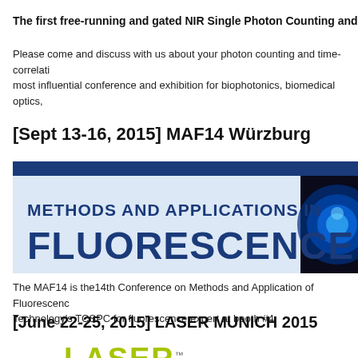The first free-running and gated NIR Single Photon Counting and Time-Co
Please come and discuss with us about your photon counting and time-correlati most influential conference and exhibition for biophotonics, biomedical optics,
[Sept 13-16, 2015] MAF14 Würzburg
[Figure (illustration): Banner image for Methods and Applications in Fluorescence conference with dark blue header bar, light blue/white background showing text 'METHODS AND APPLICATIONS IN FLUORESCENCE' in large dark blue serif font, with a circular blue glowing image on the right side.]
The MAF14 is the14th Conference on Methods and Application of Fluorescence Technology's TCSPC for fluorescence expert at booth #4
[June 22-25, 2015] LASER MUNICH 2015
[Figure (logo): Laser World of Photonics logo: 'LASER' in large yellow-green bold text, with a small trademark symbol, and 'World of PHOTONICS' below in black and orange text.]